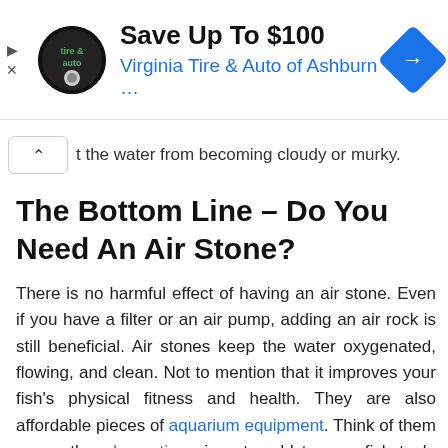[Figure (screenshot): Advertisement banner for Virginia Tire & Auto of Ashburn showing logo, 'Save Up To $100' headline, and blue navigation diamond icon]
t the water from becoming cloudy or murky.
The Bottom Line – Do You Need An Air Stone?
There is no harmful effect of having an air stone. Even if you have a filter or an air pump, adding an air rock is still beneficial. Air stones keep the water oxygenated, flowing, and clean. Not to mention that it improves your fish's physical fitness and health. They are also affordable pieces of aquarium equipment. Think of them as another decoration piece to add to your fish tank. The only difference is that 'oxygen rocks' are beneficial in more ways than one.
If you want to purchase an inexpensive air rock for your fish